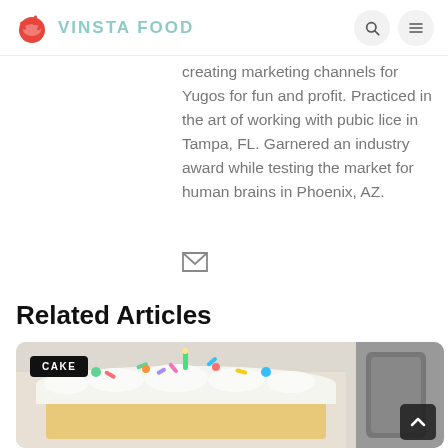VINSTA FOOD
creating marketing channels for Yugos for fun and profit. Practiced in the art of working with pubic lice in Tampa, FL. Garnered an industry award while testing the market for human brains in Phoenix, AZ.
Related Articles
[Figure (photo): Close-up photo of a slice of white frosted cake with colorful sprinkles, with a kitchen appliance visible in the background. A black badge reading CAKE is overlaid in the top-left corner.]